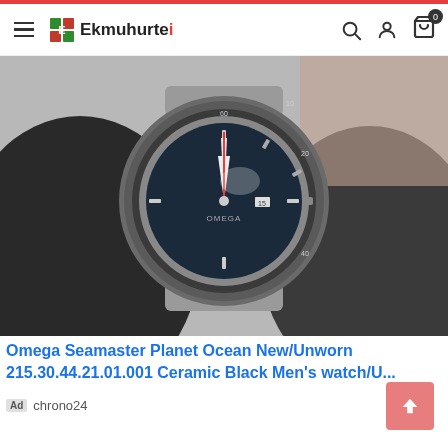Ekmuhurte (logo) — navigation header with search, user, and cart icons
[Figure (photo): Photo of an Omega Seamaster Planet Ocean watch with a black ceramic bezel, dark blue dial, and stainless steel bracelet, held by a gloved hand against a blurred background.]
Omega Seamaster Planet Ocean New/Unworn 215.30.44.21.01.001 Ceramic Black Men's watch/U...
Ad  chrono24